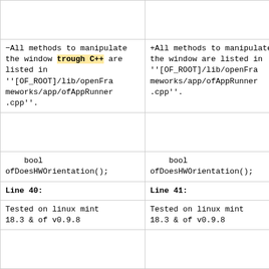| Left | Right |
| --- | --- |
| (empty row) | (empty row) |
| -All methods to manipulate the window trough C++ are listed in ''[OF_ROOT]/lib/openFrameworks/app/ofAppRunner.cpp''. | +All methods to manipulate the window are listed in ''[OF_ROOT]/lib/openFrameworks/app/ofAppRunner.cpp''. |
| (empty row) | (empty row) |
| bool ofDoesHWOrientation(); | bool ofDoesHWOrientation(); |
| Line 40: | Line 41: |
| Tested on linux mint 18.3 & of v0.9.8 | Tested on linux mint 18.3 & of v0.9.8 |
| (empty row) | (empty row) |
| -[[Category::openframeworks]] | +[[Category:openframeworks]] |